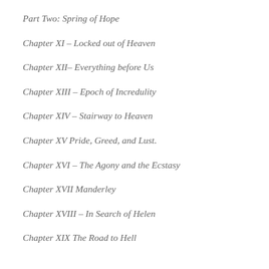Part Two: Spring of Hope
Chapter XI – Locked out of Heaven
Chapter XII– Everything before Us
Chapter XIII – Epoch of Incredulity
Chapter XIV – Stairway to Heaven
Chapter XV Pride, Greed, and Lust.
Chapter XVI – The Agony and the Ecstasy
Chapter XVII Manderley
Chapter XVIII – In Search of Helen
Chapter XIX The Road to Hell